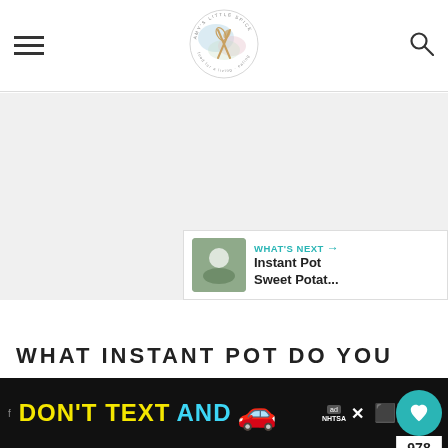Site header with hamburger menu, logo, and search icon
[Figure (logo): Circular food blog logo with crossed whisk and spoon, decorative watercolor background, text around border]
[Figure (other): Floating action buttons: teal heart button, count 978, share button]
[Figure (other): What's Next card: Instant Pot Sweet Potat... with thumbnail]
WHAT INSTANT POT DO YOU
[Figure (infographic): Ad banner: DON'T TEXT AND [car emoji] NHTSA advertisement on black background]